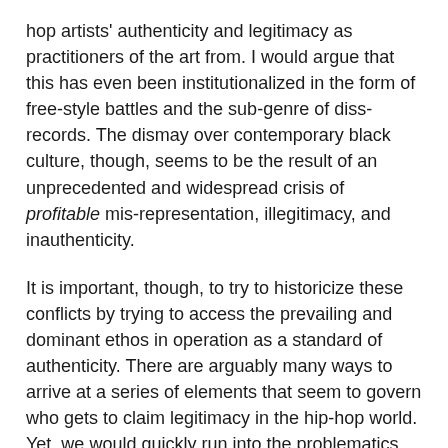hop artists' authenticity and legitimacy as practitioners of the art from. I would argue that this has even been institutionalized in the form of free-style battles and the sub-genre of diss-records. The dismay over contemporary black culture, though, seems to be the result of an unprecedented and widespread crisis of profitable mis-representation, illegitimacy, and inauthenticity.
It is important, though, to try to historicize these conflicts by trying to access the prevailing and dominant ethos in operation as a standard of authenticity. There are arguably many ways to arrive at a series of elements that seem to govern who gets to claim legitimacy in the hip-hop world. Yet, we would quickly run into the problematics Gilroy set forth. Legitimate to whom? And who are these terms modified in the complex global processes of production, distribution, and consumption?
If one looks closely at contemporary hip-hop music, it is